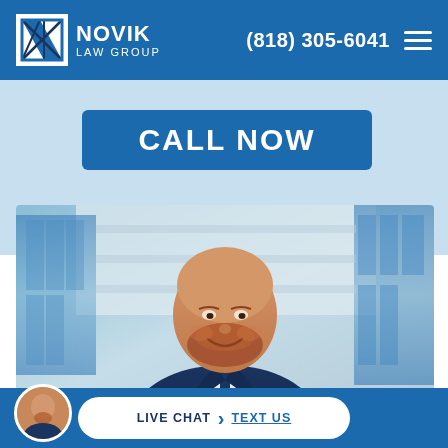Novik Law Group | (818) 305-6041
CALL NOW
[Figure (photo): Professional photo of a bald man with a red beard wearing a navy blue suit and tie, smiling, with a modern glass building in the background.]
LIVE CHAT | TEXT US